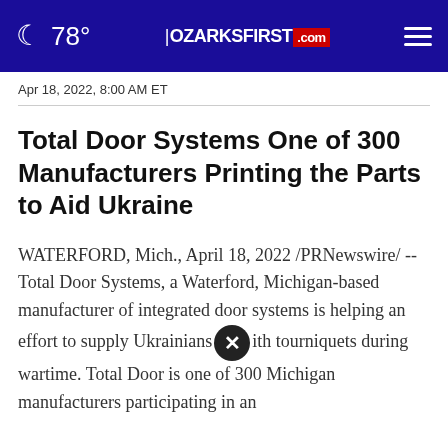78° | OZARKSFIRST.com
Apr 18, 2022, 8:00 AM ET
Total Door Systems One of 300 Manufacturers Printing the Parts to Aid Ukraine
WATERFORD, Mich., April 18, 2022 /PRNewswire/ -- Total Door Systems, a Waterford, Michigan-based manufacturer of integrated door systems is helping an effort to supply Ukrainians with tourniquets during wartime. Total Door is one of 300 Michigan manufacturers participating in an